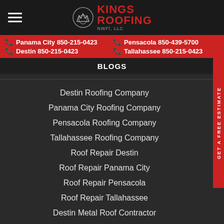[Figure (logo): Kings Roofing NWFl logo with crown icon and red text]
Panama City 850-215-0423 | Pensacola 850-439-5700 | Destin 850-215-0423 | Tallahassee 850-215-0423
BLOGS
Destin Roofing Company
Panama City Roofing Company
Pensacola Roofing Company
Tallahassee Roofing Company
Roof Repair Destin
Roof Repair Panama City
Roof Repair Pensacola
Roof Repair Tallahassee
Destin Metal Roof Contractor